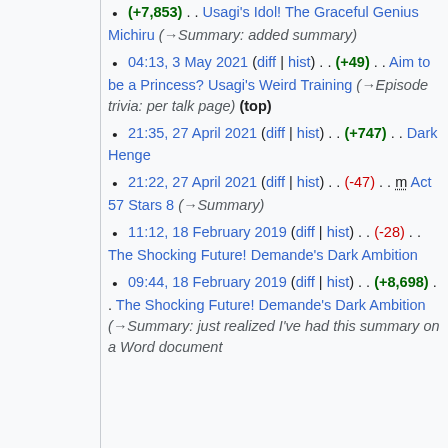(+7,853) . . Usagi's Idol! The Graceful Genius Michiru (→Summary: added summary)
04:13, 3 May 2021 (diff | hist) . . (+49) . . Aim to be a Princess? Usagi's Weird Training (→Episode trivia: per talk page) (top)
21:35, 27 April 2021 (diff | hist) . . (+747) . . Dark Henge
21:22, 27 April 2021 (diff | hist) . . (-47) . . m Act 57 Stars 8 (→Summary)
11:12, 18 February 2019 (diff | hist) . . (-28) . . The Shocking Future! Demande's Dark Ambition
09:44, 18 February 2019 (diff | hist) . . (+8,698) . . The Shocking Future! Demande's Dark Ambition (→Summary: just realized I've had this summary on a Word document